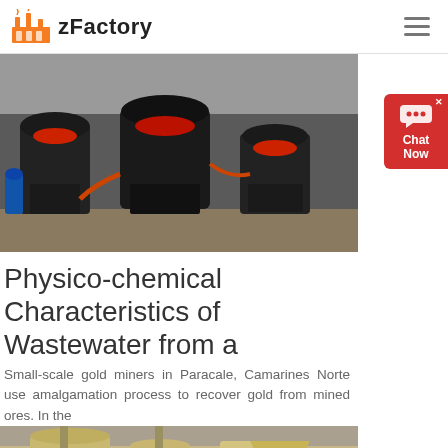zFactory
[Figure (photo): Industrial heavy machinery (cone crushers) in a factory floor setting, black equipment with red accents]
Physico-chemical Characteristics of Wastewater from a
Small-scale gold miners in Paracale, Camarines Norte use amalgamation process to recover gold from mined ores. In the
[Figure (photo): Industrial milling or processing equipment in yellow/tan color inside a factory]